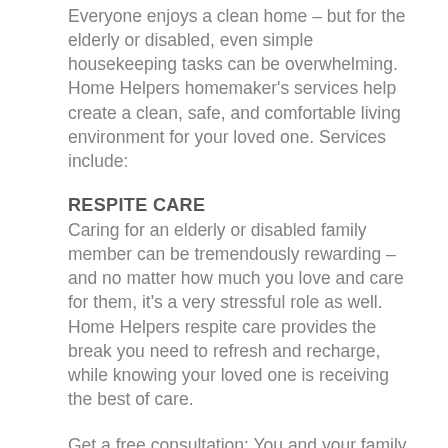Everyone enjoys a clean home – but for the elderly or disabled, even simple housekeeping tasks can be overwhelming. Home Helpers homemaker's services help create a clean, safe, and comfortable living environment for your loved one. Services include:
RESPITE CARE
Caring for an elderly or disabled family member can be tremendously rewarding – and no matter how much you love and care for them, it's a very stressful role as well. Home Helpers respite care provides the break you need to refresh and recharge, while knowing your loved one is receiving the best of care.
Get a free consultation: You and your family deserve the best home care. Our no-obligation, face-to-face meeting in the client's home allows us to better understand your needs and expectations in order to ensure a compatible caregiver match. Please visit our